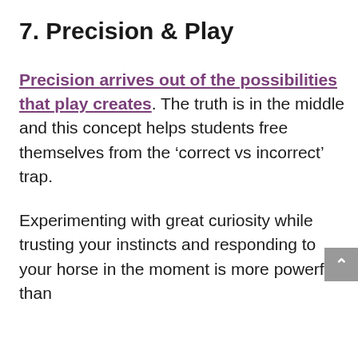7. Precision & Play
Precision arrives out of the possibilities that play creates. The truth is in the middle and this concept helps students free themselves from the ‘correct vs incorrect’ trap.
Experimenting with great curiosity while trusting your instincts and responding to your horse in the moment is more powerful than